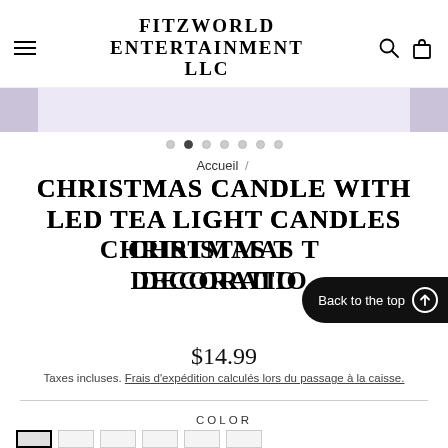FITZWORLD ENTERTAINMENT LLC
[Figure (other): Carousel/banner strip with lavender background and navigation dots]
Accueil /
CHRISTMAS CANDLE WITH LED TEA LIGHT CANDLES CHRISTMAS TREE DECORATION
Back to the top ↑
$14.99
Taxes incluses. Frais d'expédition calculés lors du passage à la caisse.
COLOR